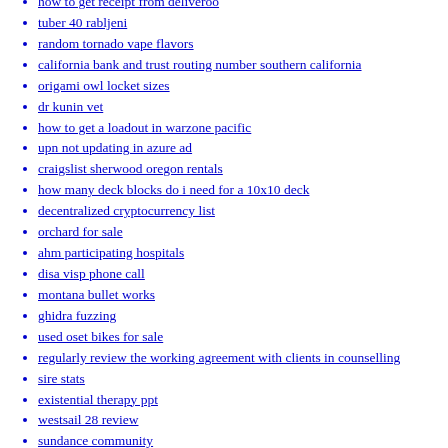how to get receipt from deliveroo
tuber 40 rabljeni
random tornado vape flavors
california bank and trust routing number southern california
origami owl locket sizes
dr kunin vet
how to get a loadout in warzone pacific
upn not updating in azure ad
craigslist sherwood oregon rentals
how many deck blocks do i need for a 10x10 deck
decentralized cryptocurrency list
orchard for sale
ahm participating hospitals
disa visp phone call
montana bullet works
ghidra fuzzing
used oset bikes for sale
regularly review the working agreement with clients in counselling
sire stats
existential therapy ppt
westsail 28 review
sundance community
adb remove offline device
139qmb engine